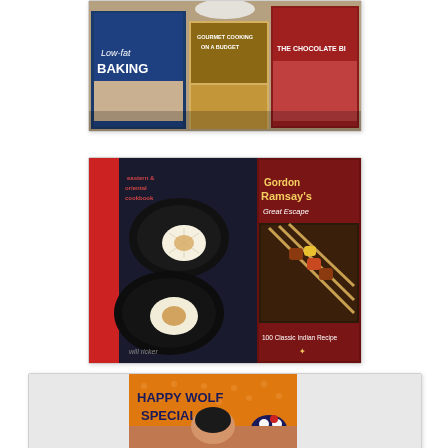[Figure (photo): Photo of cookbooks stacked on a table, showing spines and covers including 'Low-fat Baking', 'Gourmet Cooking on a Budget', and 'The Chocolate Bi[ble]']
[Figure (photo): Photo of two cookbooks side by side: 'the eastern & oriental cookbook' by Will Ricker (showing scallop dishes) and 'Gordon Ramsay's Great Escape: 100 Classic Indian Recipes' (showing skewered meat)]
[Figure (photo): Photo of a person taking a selfie in front of an orange 'Happy Wolf Specials' sign/banner with a cartoon wolf logo]